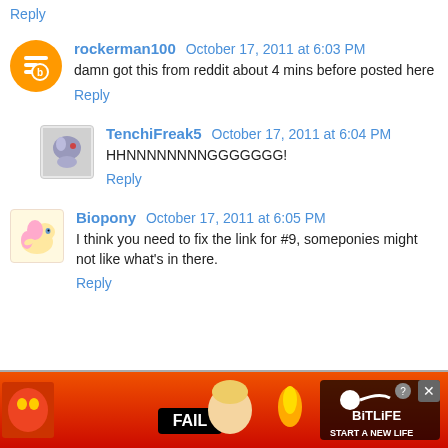Reply
rockerman100  October 17, 2011 at 6:03 PM
damn got this from reddit about 4 mins before posted here
Reply
TenchiFreak5  October 17, 2011 at 6:04 PM
HHNNNNNNNNGGGGGGG!
Reply
Biopony  October 17, 2011 at 6:05 PM
I think you need to fix the link for #9, someponies might not like what's in there.
Reply
[Figure (screenshot): Advertisement banner: BitLife - Start a New Life, with fail facepalm meme image, fire background]
This was on 9gag a while ago, but still good